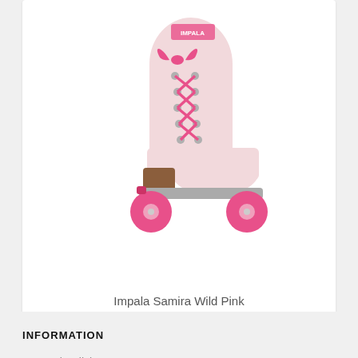[Figure (illustration): Pink roller skate (Impala Samira Wild Pink) with hot pink laces, pink wheels, and a white boot on a brown sole, viewed from the side at an angle.]
Impala Samira Wild Pink
$325.00 CAD
INFORMATION
General Policies